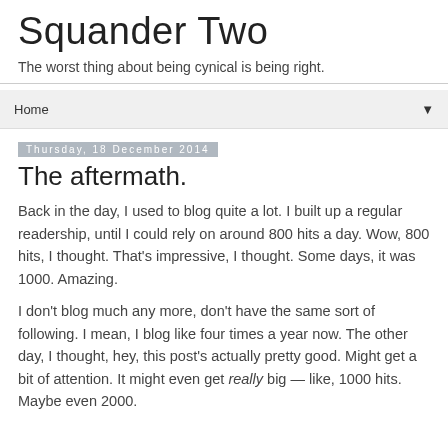Squander Two
The worst thing about being cynical is being right.
Home ▼
Thursday, 18 December 2014
The aftermath.
Back in the day, I used to blog quite a lot. I built up a regular readership, until I could rely on around 800 hits a day. Wow, 800 hits, I thought. That's impressive, I thought. Some days, it was 1000. Amazing.
I don't blog much any more, don't have the same sort of following. I mean, I blog like four times a year now. The other day, I thought, hey, this post's actually pretty good. Might get a bit of attention. It might even get really big — like, 1000 hits. Maybe even 2000.